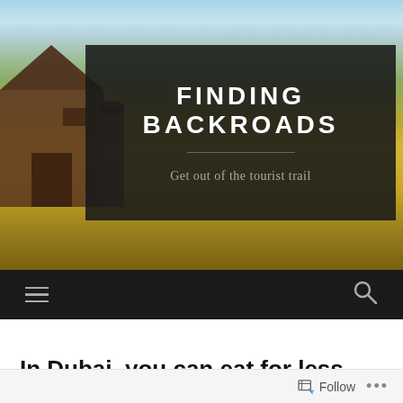[Figure (photo): Hero image of rural countryside field with golden grass and dirt path under blue sky, with barn on left side and dark overlay box containing site title]
FINDING BACKROADS
Get out of the tourist trail
[Figure (infographic): Dark navigation bar with hamburger menu icon on left and search icon on right]
In Dubai, you can eat for less
Follow